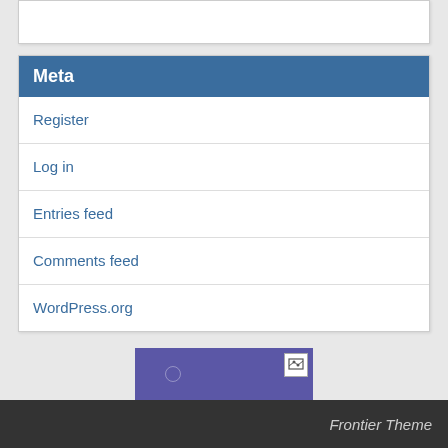Meta
Register
Log in
Entries feed
Comments feed
WordPress.org
[Figure (other): Purple/blue widget placeholder box with small icon in top-right corner and faint circular decorative elements]
Frontier Theme